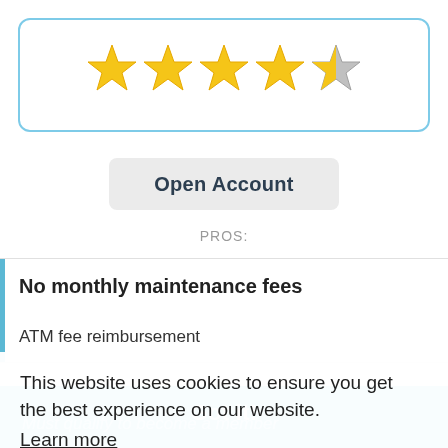[Figure (other): 4.5 star rating displayed with 4 full gold stars and 1 half/silver star inside a rounded rectangle with light blue border]
Open Account
PROS:
No monthly maintenance fees
ATM fee reimbursement
Variety of personal deposit accounts
CONS:
This website uses cookies to ensure you get the best experience on our website. Learn more
Got it!
Must qualify to become a member